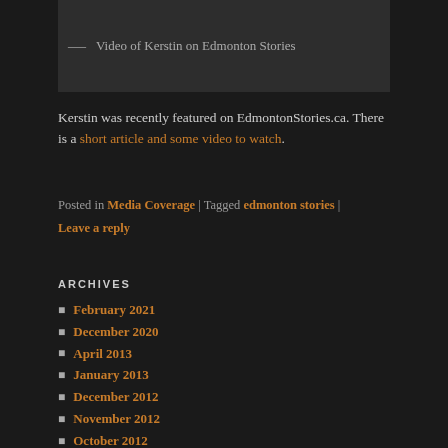[Figure (screenshot): Video player screenshot with dark background and caption area showing '— Video of Kerstin on Edmonton Stories']
— Video of Kerstin on Edmonton Stories
Kerstin was recently featured on EdmontonStories.ca. There is a short article and some video to watch.
Posted in Media Coverage | Tagged edmonton stories | Leave a reply
ARCHIVES
February 2021
December 2020
April 2013
January 2013
December 2012
November 2012
October 2012
September 2012